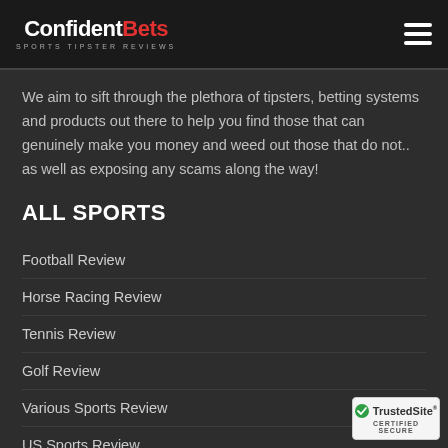ConfidentBets SPORTS TIPSTER REVIEWS
We aim to sift through the plethora of tipsters, betting systems and products out there to help you find those that can genuinely make you money and weed out those that do not.. as well as exposing any scams along the way!
ALL SPORTS
Football Review
Horse Racing Review
Tennis Review
Golf Review
Various Sports Review
US Sports Review
[Figure (logo): TrustedSite Certified Secure badge with checkmark]